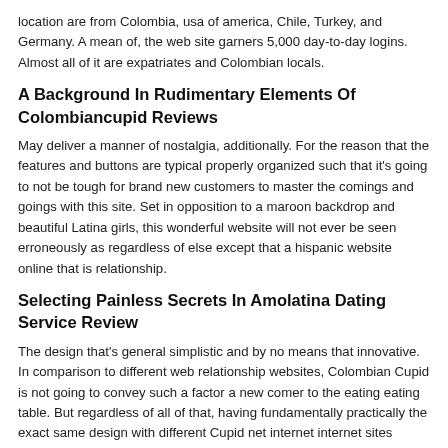location are from Colombia, usa of america, Chile, Turkey, and Germany. A mean of, the web site garners 5,000 day-to-day logins. Almost all of it are expatriates and Colombian locals.
A Background In Rudimentary Elements Of Colombiancupid Reviews
May deliver a manner of nostalgia, additionally. For the reason that the features and buttons are typical properly organized such that it's going to not be tough for brand new customers to master the comings and goings with this site. Set in opposition to a maroon backdrop and beautiful Latina girls, this wonderful website will not ever be seen erroneously as regardless of else except that a hispanic website online that is relationship.
Selecting Painless Secrets In Amolatina Dating Service Review
The design that's general simplistic and by no means that innovative. In comparison to different web relationship websites, Colombian Cupid is not going to convey such a factor a new comer to the eating eating table. But regardless of all of that, having fundamentally practically the exact same design with different Cupid net internet internet sites makes Colombian Cupid straight away acquainted to internet relationship enthusiasts. May carry a sense of nostalgia, additionally. Given that the features and buttons